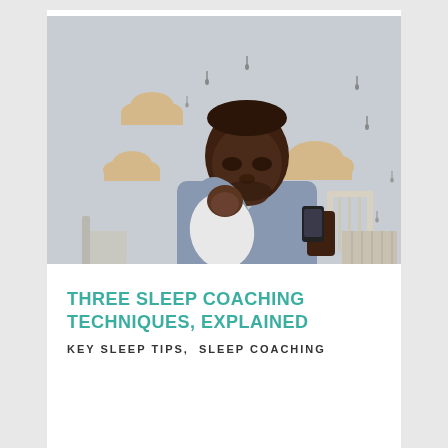[Figure (photo): A Black man in a light blue shirt holds a sleeping newborn baby wrapped in a white blanket, looking down at a smartphone. Background shows a nursery room with cloud wall decorations and a white crib.]
THREE SLEEP COACHING TECHNIQUES, EXPLAINED
KEY SLEEP TIPS, SLEEP COACHING